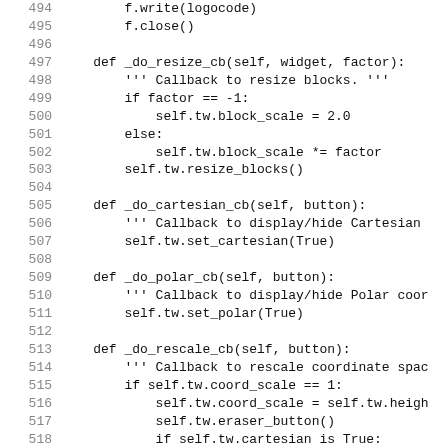Code listing lines 494-523, Python source code for methods _do_resize_cb, _do_cartesian_cb, _do_polar_cb, and _do_rescale_cb